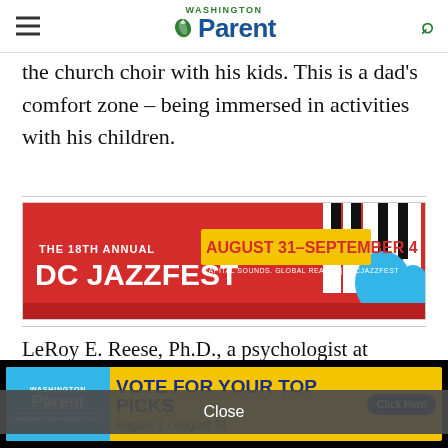Washington Parent
the church choir with his kids. This is a dad's comfort zone – being immersed in activities with his children.
[Figure (infographic): DC JazzFest advertisement banner: red background with piano keys graphic and blue hands. Text: THE 18TH ANNUAL DC JAZZFEST, AUGUST 31–SEPTEMBER 4, CAPITAL SOUNDS. GLOBAL REACH. | #DCJAZZFEST]
LeRoy E. Reese, Ph.D., a psychologist at Akoma Counseling and Consulting, Inc. in Decatur, GA, stresses, "One of the most important things I have learned as a dad is to be emotionally available to my kids. They have
Close
[Figure (infographic): Washington Parent Vote for Your Top Picks ad banner. Blue left panel with Washington Parent logo and WASHINGTON PARENT PICKS text. Yellow panel with dark blue bold text VOTE FOR YOUR TOP PICKS, date August 1 - August 31, and dark blue Click Here button.]